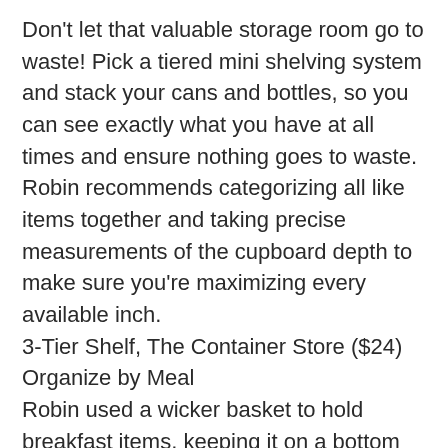Don't let that valuable storage room go to waste! Pick a tiered mini shelving system and stack your cans and bottles, so you can see exactly what you have at all times and ensure nothing goes to waste. Robin recommends categorizing all like items together and taking precise measurements of the cupboard depth to make sure you're maximizing every available inch.
3-Tier Shelf, The Container Store ($24) Organize by Meal
Robin used a wicker basket to hold breakfast items, keeping it on a bottom shelf so it's easy for all family members—including the little ones—to grab the entire bin and bring it to the counter. It's a small way to make busy mornings run smoother; plus, with clear labeling, there's no confusion as to its contents. Keep tabs on your Cheerios at all times.
Water Hyacinth Storage Bins, The Container Store